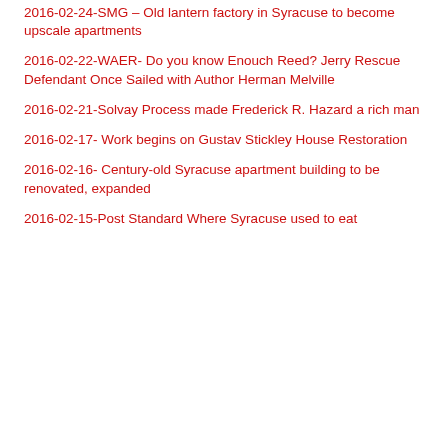2016-02-24-SMG – Old lantern factory in Syracuse to become upscale apartments
2016-02-22-WAER- Do you know Enouch Reed? Jerry Rescue Defendant Once Sailed with Author Herman Melville
2016-02-21-Solvay Process made Frederick R. Hazard a rich man
2016-02-17- Work begins on Gustav Stickley House Restoration
2016-02-16- Century-old Syracuse apartment building to be renovated, expanded
2016-02-15-Post Standard Where Syracuse used to eat